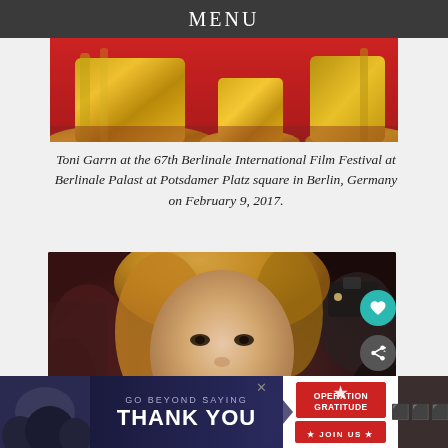MENU
[Figure (photo): Close-up of golden metallic dress fabric/hem on a red carpet, showing two figures' gown hems draped on the floor]
Toni Garrn at the 67th Berlinale International Film Festival at Berlinale Palast at Potsdamer Platz square in Berlin, Germany on February 9, 2017.
[Figure (photo): Portrait photo of Toni Garrn, blonde model, at the 67th Berlinale International Film Festival, with photographers visible in the background. UI elements visible: heart/favourite button, share button, and a 'WHAT'S NEXT' overlay showing Victoria Justice vs....]
[Figure (other): Advertisement banner: 'GO BEYOND SAYING THANK YOU' with Operation Gratitude logo and JOIN US call to action]